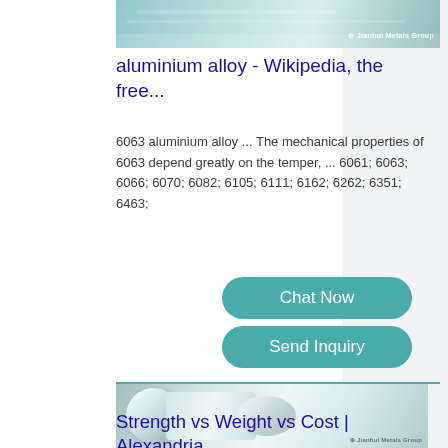[Figure (photo): Aluminium alloy product image, likely metallic sheet or roll, with Jianhui Metals Group watermark — top strip]
aluminium alloy - Wikipedia, the free...
6063 aluminium alloy ... The mechanical properties of 6063 depend greatly on the temper, ... 6061; 6063; 6066; 6070; 6082; 6105; 6111; 6162; 6262; 6351; 6463;
[Figure (other): Chat Now button (teal rounded rectangle)]
[Figure (other): Send Inquiry button (teal rounded rectangle)]
[Figure (photo): Large rolls of aluminium foil/sheet, Jianhui Metals Group watermark]
Strength vs Weight vs Cost | Alexandria Industries